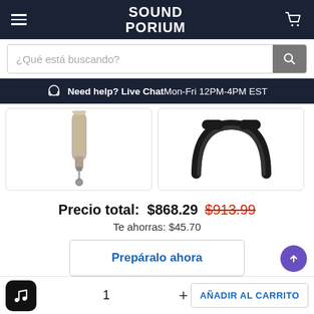SOUNDPORIUM
¿Qué está buscando?
Need help? Live Chat Mon-Fri 12PM-4PM EST
[Figure (photo): Product image: microphone capsule silver metal]
[Figure (photo): Product image: coiled black cable]
Precio total:  $868.29  $913.99
Te ahorras: $45.70
Prepáralo ahora
1  +  AÑADIR AL CARRITO